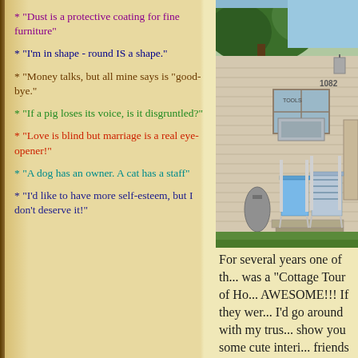* "Dust is a protective coating for fine furniture"
* "I'm in shape - round IS a shape."
* "Money talks, but all mine says is "good-bye."
* "If a pig loses its voice, is it disgruntled?"
* "Love is blind but marriage is a real eye-opener!"
* "A dog has an owner. A cat has a staff"
* "I'd like to have more self-esteem, but I don't deserve it!"
[Figure (photo): Exterior photo of a small white/beige cottage with house number 1082, an air conditioning unit in the window, two lawn chairs (blue and striped) on a small stoop, with a large tree visible in the background and green grass in the foreground.]
For several years one of th... was a "Cottage Tour of Ho... AWESOME!!! If they wer... I'd go around with my trus... show you some cute interi... friends with cottages - - - ...